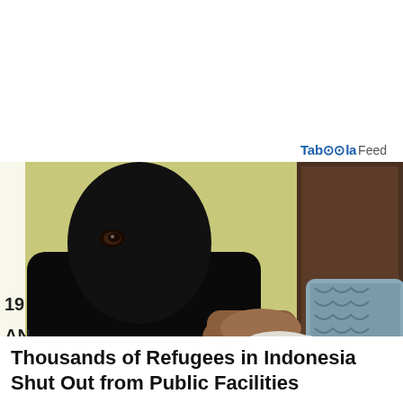Taboola Feed
[Figure (photo): A woman wearing a black niqab receives a vaccination injection in her arm from a healthcare worker wearing white gloves. Background shows a yellow wall and dark wood door.]
Thousands of Refugees in Indonesia Shut Out from Public Facilities